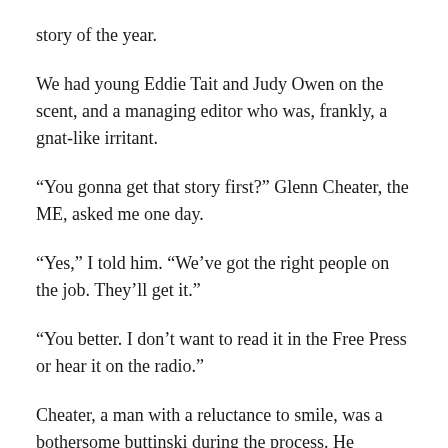story of the year.
We had young Eddie Tait and Judy Owen on the scent, and a managing editor who was, frankly, a gnat-like irritant.
“You gonna get that story first?” Glenn Cheater, the ME, asked me one day.
“Yes,” I told him. “We’ve got the right people on the job. They’ll get it.”
“You better. I don’t want to read it in the Free Press or hear it on the radio.”
Cheater, a man with a reluctance to smile, was a bothersome buttinski during the process. He suspected